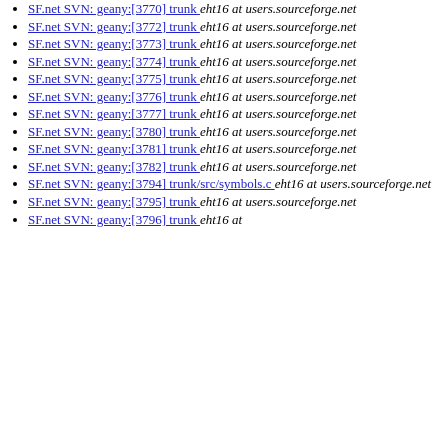SF.net SVN: geany:[3770] trunk  eht16 at users.sourceforge.net
SF.net SVN: geany:[3772] trunk  eht16 at users.sourceforge.net
SF.net SVN: geany:[3773] trunk  eht16 at users.sourceforge.net
SF.net SVN: geany:[3774] trunk  eht16 at users.sourceforge.net
SF.net SVN: geany:[3775] trunk  eht16 at users.sourceforge.net
SF.net SVN: geany:[3776] trunk  eht16 at users.sourceforge.net
SF.net SVN: geany:[3777] trunk  eht16 at users.sourceforge.net
SF.net SVN: geany:[3780] trunk  eht16 at users.sourceforge.net
SF.net SVN: geany:[3781] trunk  eht16 at users.sourceforge.net
SF.net SVN: geany:[3782] trunk  eht16 at users.sourceforge.net
SF.net SVN: geany:[3794] trunk/src/symbols.c  eht16 at users.sourceforge.net
SF.net SVN: geany:[3795] trunk  eht16 at users.sourceforge.net
SF.net SVN: geany:[3796] trunk  eht16 at users.sourceforge.net